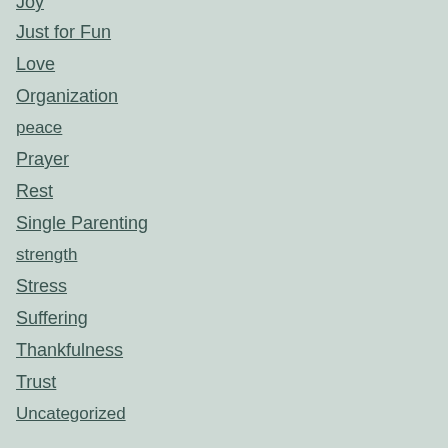Joy
Just for Fun
Love
Organization
peace
Prayer
Rest
Single Parenting
strength
Stress
Suffering
Thankfulness
Trust
Uncategorized